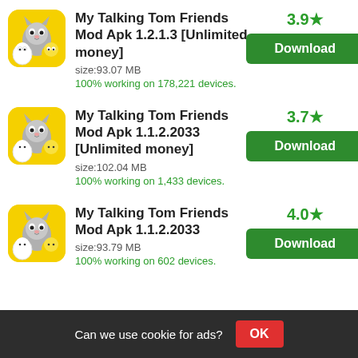My Talking Tom Friends Mod Apk 1.2.1.3 [Unlimited money] size:93.07 MB 100% working on 178,221 devices. Rating: 3.9 Download
My Talking Tom Friends Mod Apk 1.1.2.2033 [Unlimited money] size:102.04 MB 100% working on 1,433 devices. Rating: 3.7 Download
My Talking Tom Friends Mod Apk 1.1.2.2033 size:93.79 MB 100% working on 602 devices. Rating: 4.0 Download
Can we use cookie for ads? OK